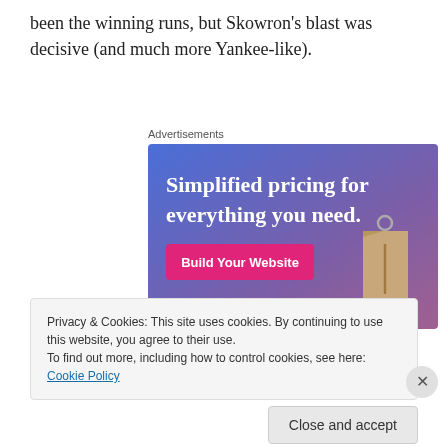been the winning runs, but Skowron's blast was decisive (and much more Yankee-like).
Advertisements
[Figure (infographic): Advertisement banner with gradient blue-purple background showing text 'Simplified pricing for everything you need.' with a pink 'Build Your Website' button and a tan price tag graphic]
Privacy & Cookies: This site uses cookies. By continuing to use this website, you agree to their use.
To find out more, including how to control cookies, see here: Cookie Policy
Close and accept